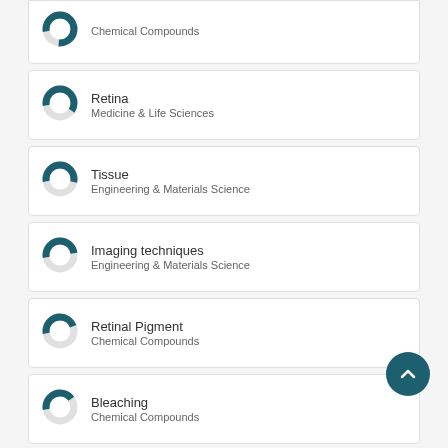Chemical Compounds
Retina
Medicine & Life Sciences
Tissue
Engineering & Materials Science
Imaging techniques
Engineering & Materials Science
Retinal Pigment
Chemical Compounds
Bleaching
Chemical Compounds
Light Scattering
Chemical Compounds